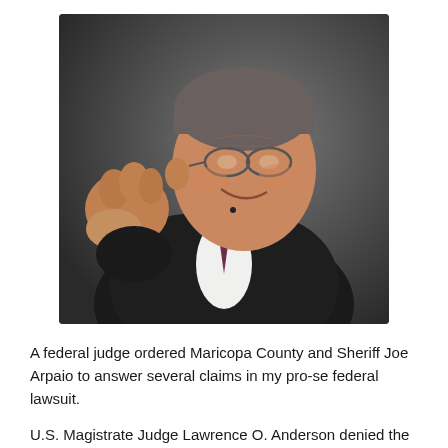[Figure (photo): Photograph of Sheriff Joe Arpaio, an elderly man in a dark suit with a tie, raising his fist toward the camera, smiling, wearing glasses and a small microphone, against a dark background.]
A federal judge ordered Maricopa County and Sheriff Joe Arpaio to answer several claims in my pro-se federal lawsuit.
U.S. Magistrate Judge Lawrence O. Anderson denied the defendants' motions to dismiss the case on Tuesday, while also dismissing some of the Plaintiff's (my) claims. READ